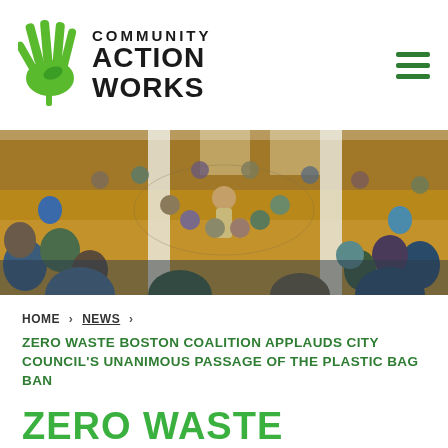[Figure (logo): Community Action Works logo with green hand/leaf icon and bold text]
[Figure (photo): Large group of people seated in a circle in a community hall for a meeting or event]
HOME > NEWS >
ZERO WASTE BOSTON COALITION APPLAUDS CITY COUNCIL'S UNANIMOUS PASSAGE OF THE PLASTIC BAG BAN
ZERO WASTE BOSTON